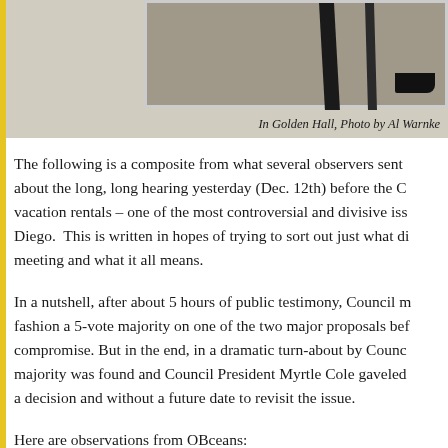[Figure (photo): Partial photo showing legs and feet of a person standing, with a shoe visible at the bottom right. Photo is cropped at the top.]
In Golden Hall, Photo by Al Warnke
The following is a composite from what several observers sent about the long, long hearing yesterday (Dec. 12th) before the C vacation rentals – one of the most controversial and divisive iss Diego.  This is written in hopes of trying to sort out just what di meeting and what it all means.
In a nutshell, after about 5 hours of public testimony, Council m fashion a 5-vote majority on one of the two major proposals bef compromise. But in the end, in a dramatic turn-about by Counc majority was found and Council President Myrtle Cole gaveled a decision and without a future date to revisit the issue.
Here are observations from OBceans:
The meeting started at 10 a.m. Tuesday inside Golden Hall at th